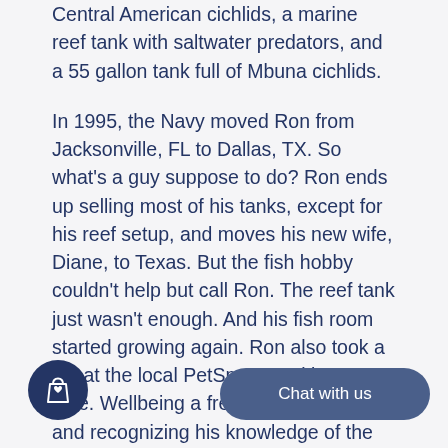Central American cichlids, a marine reef tank with saltwater predators, and a 55 gallon tank full of Mbuna cichlids.
In 1995, the Navy moved Ron from Jacksonville, FL to Dallas, TX. So what's a guy suppose to do? Ron ends up selling most of his tanks, except for his reef setup, and moves his new wife, Diane, to Texas. But the fish hobby couldn't help but call Ron. The reef tank just wasn't enough. And his fish room started growing again. Ron also took a job at the local PetSmart working part-time. Wellbeing a frequent customer and recognizing his knowledge of the hobby, they realized they needed him in their fish department. During this time R… d friend and fellow enthus… igniting that spark in him again. Ron added, "Sam was a great guy and taught me a lot